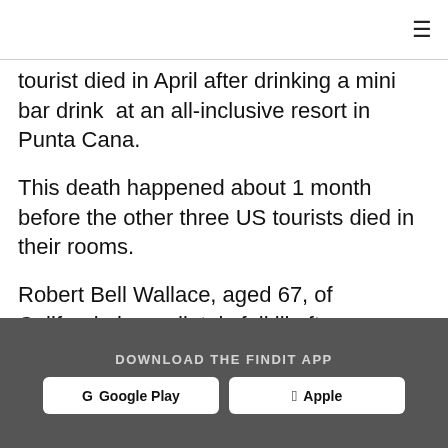≡
tourist died in April after drinking a mini bar drink  at an all-inclusive resort in Punta Cana.
This death happened about 1 month before the other three US tourists died in their rooms.
Robert Bell Wallace, aged 67, of California immediately fell ill after
DOWNLOAD THE FINDIT APP
G Google Play
🍎 Apple